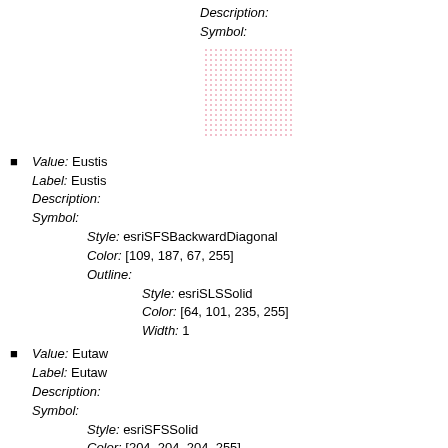Description:
Symbol:
[Figure (illustration): Pink dotted/stippled square symbol swatch]
Value: Eustis
Label: Eustis
Description:
Symbol:
  Style: esriSFSBackwardDiagonal
  Color: [109, 187, 67, 255]
  Outline:
    Style: esriSLSSolid
    Color: [64, 101, 235, 255]
    Width: 1
Value: Eutaw
Label: Eutaw
Description:
Symbol:
  Style: esriSFSSolid
  Color: [204, 204, 204, 255]
  Outline:
    Style: esriSLSSolid
    Color: [0, 0, 0, 255]
    Width: 0
Value: Falaya
Label: Falaya